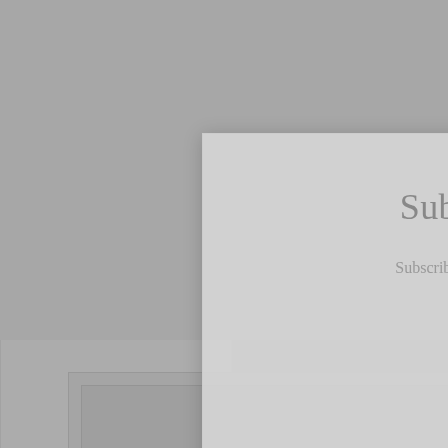[Figure (screenshot): A subscription modal dialog overlaid on a blog webpage. The modal is a semi-transparent light gray box with a close (X) button in the top-right corner. It contains the title 'Subscription', subtext 'Subscribe to Sonya Christian's Blog today!', an 'Email' label, an email input field (placeholder 'Email'), and a 'Subscribe' button. Behind the modal, partially visible page elements include another modal or card layer, a text snippet reading 'Jerry Cook served as our live auction host. I'm here to increase the bids for a special dinner at my home!', and a bottom image/card box.]